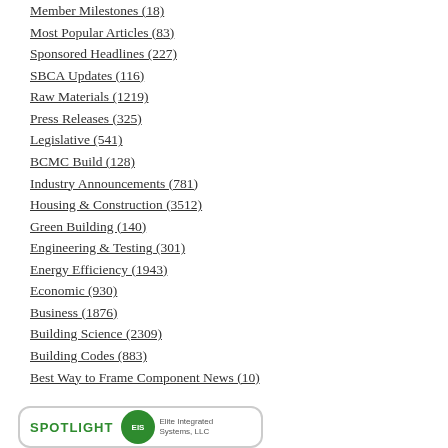Member Milestones (18)
Most Popular Articles (83)
Sponsored Headlines (227)
SBCA Updates (116)
Raw Materials (1219)
Press Releases (325)
Legislative (541)
BCMC Build (128)
Industry Announcements (781)
Housing & Construction (3512)
Green Building (140)
Engineering & Testing (301)
Energy Efficiency (1943)
Economic (930)
Business (1876)
Building Science (2309)
Building Codes (883)
Best Way to Frame Component News (10)
[Figure (logo): SPOTLIGHT banner with EIS (Elite Integrated Systems, LLC) logo in a rounded rectangle box]